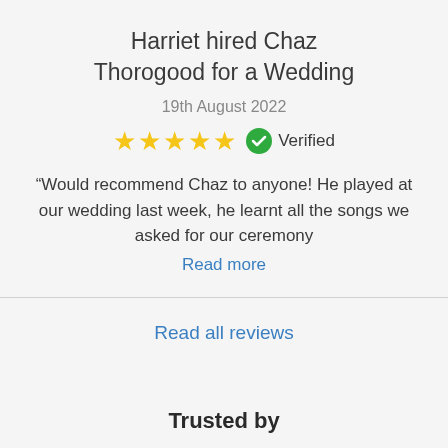Harriet hired Chaz Thorogood for a Wedding
19th August 2022
[Figure (infographic): Five gold stars rating with a green verified badge circle with checkmark and the word 'Verified']
“Would recommend Chaz to anyone! He played at our wedding last week, he learnt all the songs we asked for our ceremony
Read more
Read all reviews
Trusted by